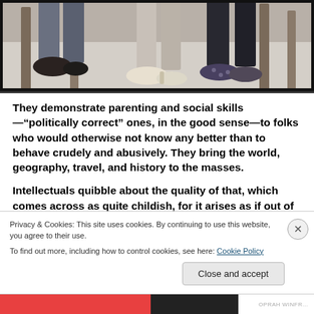[Figure (photo): Cropped photo showing people's legs and feet seated in chairs, visible shoes on a light carpet]
They demonstrate parenting and social skills—“politically correct” ones, in the good sense—to folks who would otherwise not know any better than to behave crudely and abusively. They bring the world, geography, travel, and history to the masses.
Intellectuals quibble about the quality of that, which comes across as quite childish, for it arises as if out of jealousy for the attention that television commands
Privacy & Cookies: This site uses cookies. By continuing to use this website, you agree to their use.
To find out more, including how to control cookies, see here: Cookie Policy
Close and accept